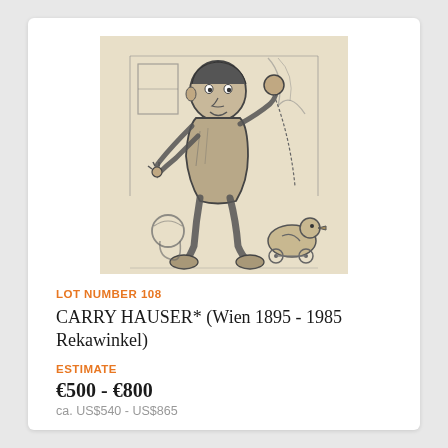[Figure (illustration): Charcoal or pencil sketch of a toddler/young child standing and holding a string attached to a duck pull-toy on wheels, with a ball or bucket on the left side. Background shows sketched room lines. Style is loose and gestural on a cream/beige paper.]
LOT NUMBER 108
CARRY HAUSER* (Wien 1895 - 1985 Rekawinkel)
ESTIMATE
€500 - €800
ca. US$540 - US$865